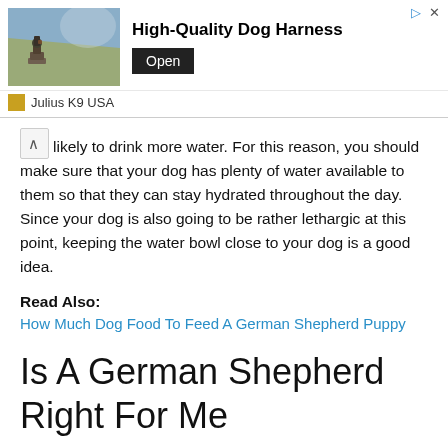[Figure (other): Advertisement banner for Julius K9 USA showing a dog with a harness on rocky terrain, with text 'High-Quality Dog Harness' and an Open button]
likely to drink more water. For this reason, you should make sure that your dog has plenty of water available to them so that they can stay hydrated throughout the day. Since your dog is also going to be rather lethargic at this point, keeping the water bowl close to your dog is a good idea.
Read Also:
How Much Dog Food To Feed A German Shepherd Puppy
Is A German Shepherd Right For Me